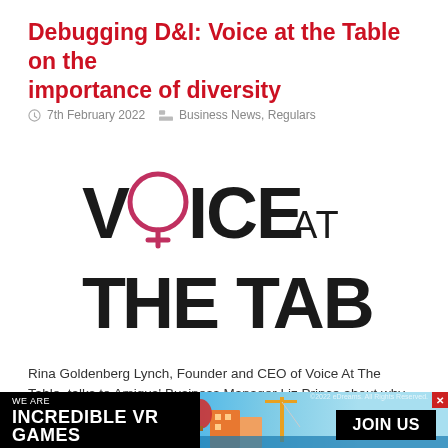Debugging D&I: Voice at the Table on the importance of diversity
7th February 2022   Business News, Regulars
[Figure (logo): Voice At The Table logo — stylized bold black letters reading VOICE AT THE TABLE in two rows, with the O in VOICE replaced by a pink/magenta female gender symbol (circle with cross below)]
Rina Goldenberg Lynch, Founder and CEO of Voice At The Table, talks to Amiqus' Business Manager Liz Prince about why diversity matters,
[Figure (infographic): Advertisement banner at the bottom of the page. Left black section reads WE ARE INCREDIBLE VR GAMES. Center shows a colorful game scene with buildings, cranes, and water. Right side has JOIN US button in black. Top right has a red X close button and small copyright text.]